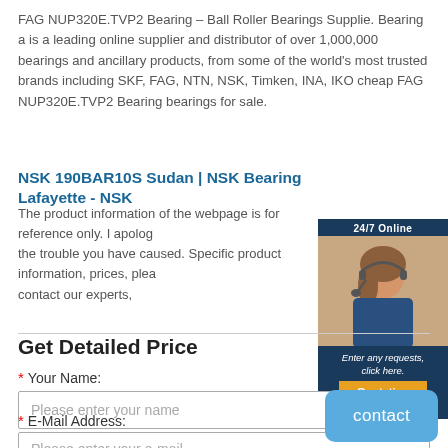FAG NUP320E.TVP2 Bearing – Ball Roller Bearings Supplie. Bearing a is a leading online supplier and distributor of over 1,000,000 bearings and ancillary products, from some of the world's most trusted brands including SKF, FAG, NTN, NSK, Timken, INA, IKO cheap FAG NUP320E.TVP2 Bearing bearings for sale.
NSK 190BAR10S Sudan | NSK Bearing Lafayette - NSK
The product information of the webpage is for reference only. I apologize the trouble you have caused. Specific product information, prices, please contact our experts,
[Figure (illustration): 24/7 Online chat widget with woman agent wearing headset, request text, and Quotation button]
Get Detailed Price
* Your Name:
Please enter your name
* E-Mail Address:
Please enter your e-mail